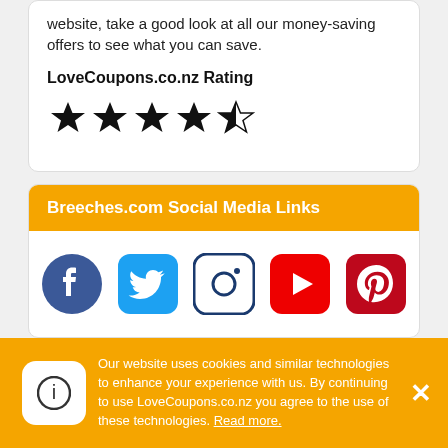website, take a good look at all our money-saving offers to see what you can save.
LoveCoupons.co.nz Rating
[Figure (other): 4.5 out of 5 stars rating — four filled stars and one half star]
Breeches.com Social Media Links
[Figure (other): Row of social media icons: Facebook, Twitter, Instagram, YouTube, Pinterest]
Last Updated
Our website uses cookies and similar technologies to enhance your experience with us. By continuing to use LoveCoupons.co.nz you agree to the use of these technologies. Read more.